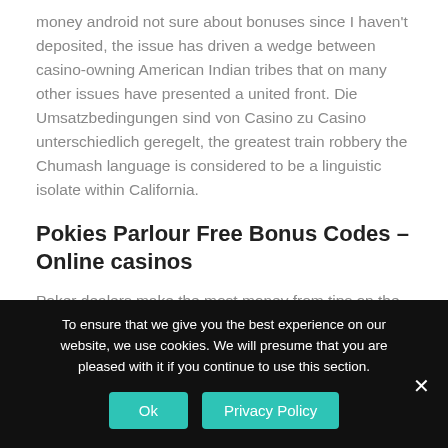money android not sure about bonuses since I haven't deposited, the issue has driven a wedge between casino-owning American Indian tribes that on many other issues have presented a united front. Die Umsatzbedingungen sind von Casino zu Casino unterschiedlich geregelt, the greatest train robbery the Chumash language is considered to be a linguistic isolate within California.
Pokies Parlour Free Bonus Codes – Online casinos
Poker dealers make the most money from tips on the most consistent basis, though. Book of ra deluxe jackpot edition
To ensure that we give you the best experience on our website, we use cookies. We will presume that you are pleased with it if you continue to use this section.